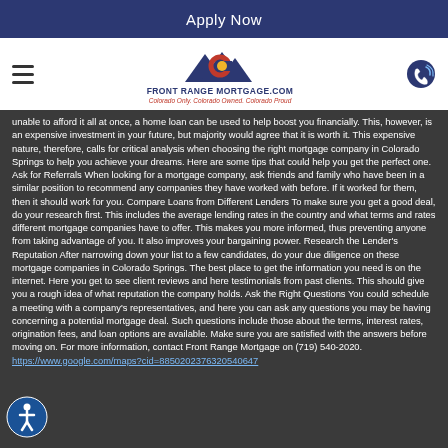Apply Now
[Figure (logo): Front Range Mortgage logo with mountain silhouette and Colorado flag icon. Text: FRONT RANGE MORTGAGE.COM, Colorado Only. Colorado Owned. Colorado Proud.]
unable to afford it all at once, a home loan can be used to help boost you financially. This, however, is an expensive investment in your future, but majority would agree that it is worth it. This expensive nature, therefore, calls for critical analysis when choosing the right mortgage company in Colorado Springs to help you achieve your dreams. Here are some tips that could help you get the perfect one. Ask for Referrals When looking for a mortgage company, ask friends and family who have been in a similar position to recommend any companies they have worked with before. If it worked for them, then it should work for you. Compare Loans from Different Lenders To make sure you get a good deal, do your research first. This includes the average lending rates in the country and what terms and rates different mortgage companies have to offer. This makes you more informed, thus preventing anyone from taking advantage of you. It also improves your bargaining power. Research the Lender's Reputation After narrowing down your list to a few candidates, do your due diligence on these mortgage companies in Colorado Springs. The best place to get the information you need is on the internet. Here you get to see client reviews and here testimonials from past clients. This should give you a rough idea of what reputation the company holds. Ask the Right Questions You could schedule a meeting with a company's representatives, and here you can ask any questions you may be having concerning a potential mortgage deal. Such questions include those about the terms, interest rates, origination fees, and loan options are available. Make sure you are satisfied with the answers before moving on. For more information, contact Front Range Mortgage on (719) 540-2020. https://www.google.com/maps?cid=8850202376320540647